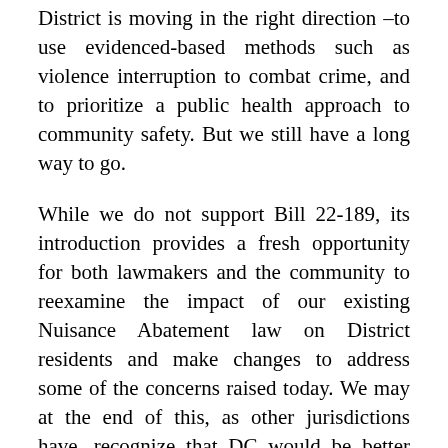District is moving in the right direction –to use evidenced-based methods such as violence interruption to combat crime, and to prioritize a public health approach to community safety. But we still have a long way to go.
While we do not support Bill 22-189, its introduction provides a fresh opportunity for both lawmakers and the community to reexamine the impact of our existing Nuisance Abatement law on District residents and make changes to address some of the concerns raised today. We may at the end of this, as other jurisdictions have, recognize that DC would be better served by severely limiting or repealing our Drug-, Firearm-, and Prostitution-Related